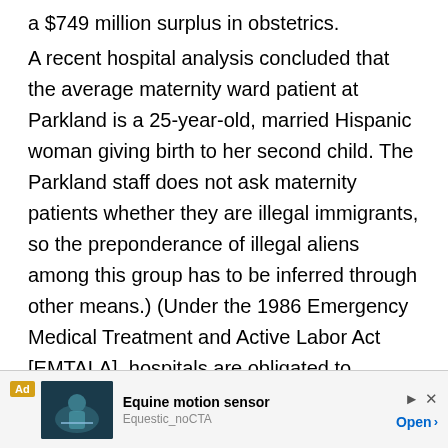a $749 million surplus in obstetrics.
A recent hospital analysis concluded that the average maternity ward patient at Parkland is a 25-year-old, married Hispanic woman giving birth to her second child. The Parkland staff does not ask maternity patients whether they are illegal immigrants, so the preponderance of illegal aliens among this group has to be inferred through other means.) (Under the 1986 Emergency Medical Treatment and Active Labor Act [EMTALA], hospitals are obligated to provide care to pregnant women in need of emergency help, and those that fail to do so are subject to
[Figure (other): Advertisement banner for The Equestic SaddleClip - Equine motion sensor product. Shows 'Ad' label, product image with rider, text 'Equine motion sensor', 'Equestic_noCTA', and 'Open >' button with play and close icons.]